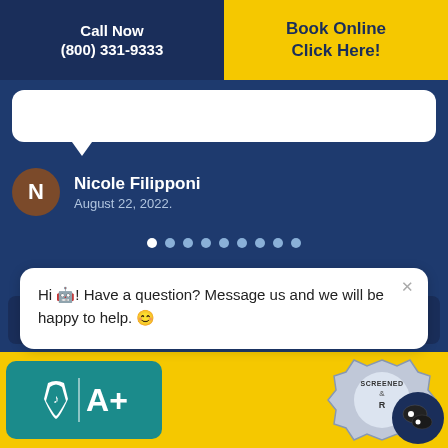Call Now
(800) 331-9333
Book Online
Click Here!
Nicole Filipponi
August 22, 2022.
More Reviews
See Our Work
Hi 🤖! Have a question? Message us and we will be happy to help. 😊
[Figure (logo): BBB A+ accreditation badge on teal background]
[Figure (logo): Screened & Reviewed badge in silver/grey]